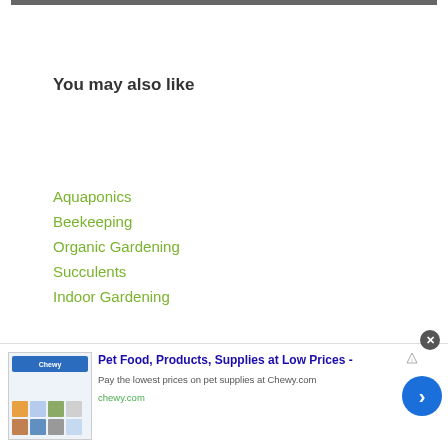You may also like
Aquaponics
Beekeeping
Organic Gardening
Succulents
Indoor Gardening
[Figure (screenshot): Advertisement banner for Chewy.com: Pet Food, Products, Supplies at Low Prices - Pay the lowest prices on pet supplies at Chewy.com]